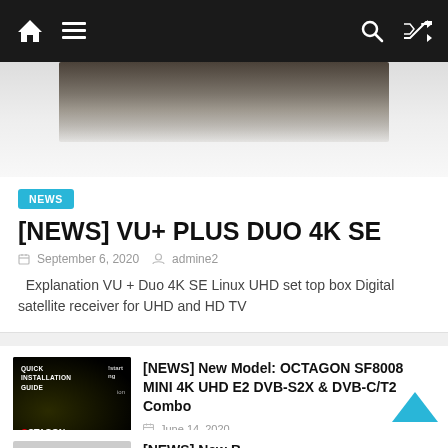Navigation bar with home, menu, search, and shuffle icons
[Figure (photo): Hero image of VU+ Duo 4K SE device, partially visible, with gradient reflection below]
NEWS
[NEWS] VU+ PLUS DUO 4K SE
September 6, 2020   admine2
Explanation VU + Duo 4K SE Linux UHD set top box Digital satellite receiver for UHD and HD TV
[Figure (photo): OCTAGON Quick Installation Guide booklet on dark background with OCTAGON logo]
[NEWS] New Model: OCTAGON SF8008 MINI 4K UHD E2 DVB-S2X & DVB-C/T2 Combo
June 14, 2020
[Figure (photo): Partially visible thumbnail image at bottom of page, grey/light colored]